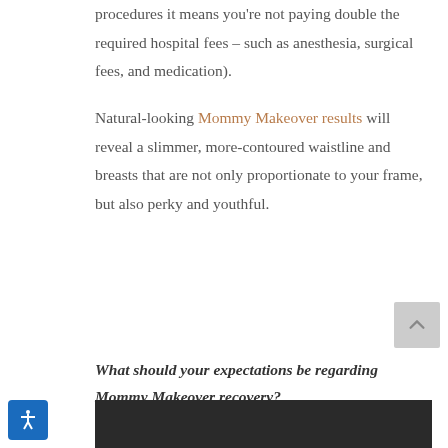procedures it means you're not paying double the required hospital fees – such as anesthesia, surgical fees, and medication).

Natural-looking Mommy Makeover results will reveal a slimmer, more-contoured waistline and breasts that are not only proportionate to your frame, but also perky and youthful.
What should your expectations be regarding Mommy Makeover recovery?
[Figure (photo): Bottom strip of a photo, showing a dark/shadowed image, partially visible at the bottom of the page]